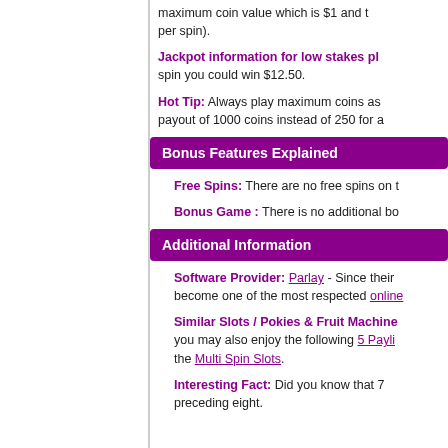maximum coin value which is $1 and the per spin).
Jackpot information for low stakes pl... spin you could win $12.50.
Hot Tip: Always play maximum coins as... payout of 1000 coins instead of 250 for a...
Bonus Features Explained
Free Spins: There are no free spins on t...
Bonus Game : There is no additional bo...
Additional Information
Software Provider: Parlay - Since their become one of the most respected online...
Similar Slots / Pokies & Fruit Machine... you may also enjoy the following 5 Payli... the Multi Spin Slots.
Interesting Fact: Did you know that 7... preceding eight.